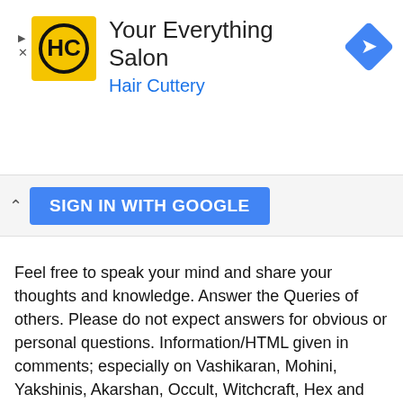[Figure (logo): Hair Cuttery ad banner with HC logo, text 'Your Everything Salon Hair Cuttery', and a navigation diamond icon]
[Figure (screenshot): Sign in with Google button with a chevron up icon on the left]
Feel free to speak your mind and share your thoughts and knowledge. Answer the Queries of others. Please do not expect answers for obvious or personal questions. Information/HTML given in comments; especially on Vashikaran, Mohini, Yakshinis, Akarshan, Occult, Witchcraft, Hex and Voodoo Spells, Black Magic Mantra, Tantra, Jadu- Tona, Totka and Upay is not endorsed by this site See New Comment Policy